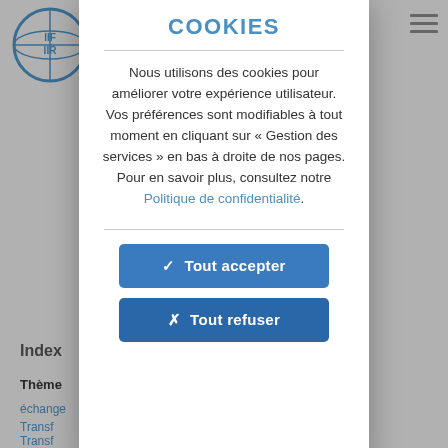[Figure (logo): IIF/IIR globe logo in blue, top-left corner of the background page]
COOKIES
Nous utilisons des cookies pour améliorer votre expérience utilisateur.
Vos préférences sont modifiables à tout moment en cliquant sur « Gestion des services » en bas à droite de nos pages.
Pour en savoir plus, consultez notre Politique de confidentialité.
✓ Tout accepter
✗ Tout refuser
Index
Thème
échange
Transf
Transf